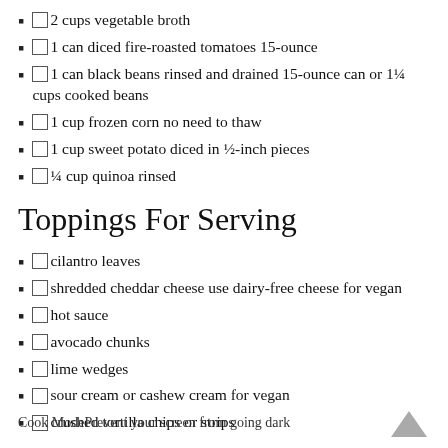2 cups vegetable broth
1 can diced fire-roasted tomatoes 15-ounce
1 can black beans rinsed and drained 15-ounce can or 1¼ cups cooked beans
1 cup frozen corn no need to thaw
1 cup sweet potato diced in ½-inch pieces
¼ cup quinoa rinsed
Toppings For Serving
cilantro leaves
shredded cheddar cheese use dairy-free cheese for vegan
hot sauce
avocado chunks
lime wedges
sour cream or cashew cream for vegan
crushed tortilla chips or strips
Cook ModePrevent your screen from going dark